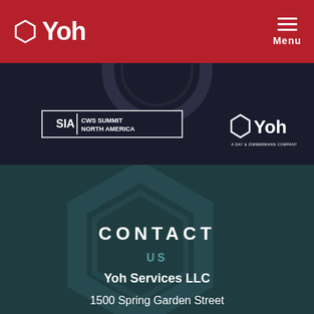Yoh
[Figure (screenshot): Dark banner image showing SIA CWS Summit North America logo on the left and Yoh logo (A Day & Zimmermann Company) on the right, with a circular mechanical element in the background]
CONTACT
US
Yoh Services LLC
1500 Spring Garden Street